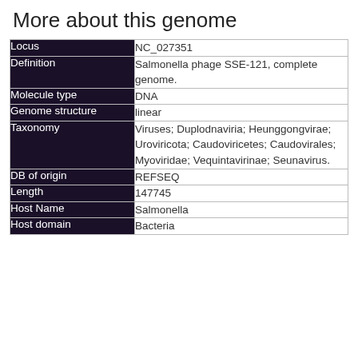More about this genome
| Field | Value |
| --- | --- |
| Locus | NC_027351 |
| Definition | Salmonella phage SSE-121, complete genome. |
| Molecule type | DNA |
| Genome structure | linear |
| Taxonomy | Viruses; Duplodnaviria; Heunggongvirae; Uroviricota; Caudoviricetes; Caudovirales; Myoviridae; Vequintavirinae; Seunavirus. |
| DB of origin | REFSEQ |
| Length | 147745 |
| Host Name | Salmonella |
| Host domain | Bacteria |